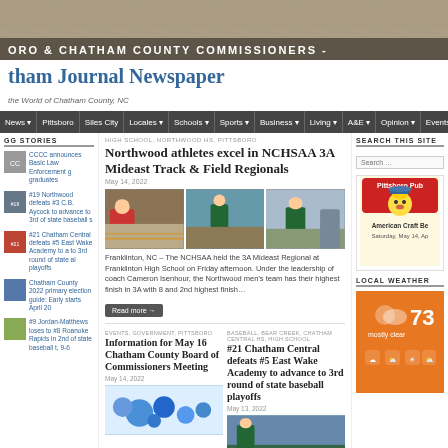[Figure (photo): Banner header photo showing wood floor texture with text overlay 'ORO & CHATHAM COUNTY COMMISSIONERS -']
tham Journal Newspaper
the World of Chatham County, NC
News | Pittsboro | Siles City | Locales | Schools | Sports | Business | Living | A&E | Opinion | Events
GG STORIES
CCCC announces Basic Law Enforcement g graduates
#19 Northwood defeats #3 C.B. Aycock to advance to 3rd of state baseball s
#21 Chatham Central defeats #5 East Wake Academy to a to 3rd round of state al playoffs
Chatham County 2022 primary election guide: Early starts April 20
#9 Jordan-Matthews loses to #8 Roanoke Rapids in 2nd of state baseball t, 9-6
HIGH SCHOOL, NORTHWOOD HS, PITTSBORO
Northwood athletes excel in NCHSAA 3A Mideast Track & Field Regionals
May 14, 2022
[Figure (photo): Three photos of Northwood track and field athletes competing at NCHSAA 3A Mideast Regionals]
Franklinton, NC – The NCHSAA held the 3A Mideast Regional at Franklinton High School on Friday afternoon. Under the leadership of coach Cameron Isenhour, the Northwood men's team has their highest finish in 3A with 8 and 2nd highest finish…
Read more →
EVENTS, GOVERNMENT, PITTSBORO
Information for May 16 Chatham County Board of Commissioners Meeting
May 14, 2022
[Figure (illustration): Blue speech bubble balloons illustration]
BASEBALL, BEAR CREEK, CHATHAM CENTRAL HS, HIGH SCHOOL
#21 Chatham Central defeats #5 East Wake Academy to advance to 3rd round of state baseball playoffs
May 13, 2022
[Figure (photo): Baseball game photo]
SEARCH THIS SITE
[Figure (logo): Pittsboro Pub advertisement with cartoon character]
LOCAL WEATHER
73 mostly clear